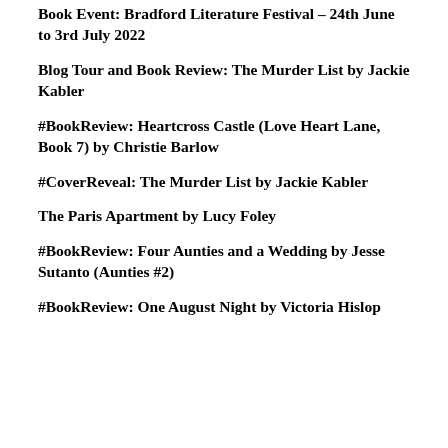Book Event: Bradford Literature Festival – 24th June to 3rd July 2022
Blog Tour and Book Review: The Murder List by Jackie Kabler
#BookReview: Heartcross Castle (Love Heart Lane, Book 7) by Christie Barlow
#CoverReveal: The Murder List by Jackie Kabler
The Paris Apartment by Lucy Foley
#BookReview: Four Aunties and a Wedding by Jesse Sutanto (Aunties #2)
#BookReview: One August Night by Victoria Hislop